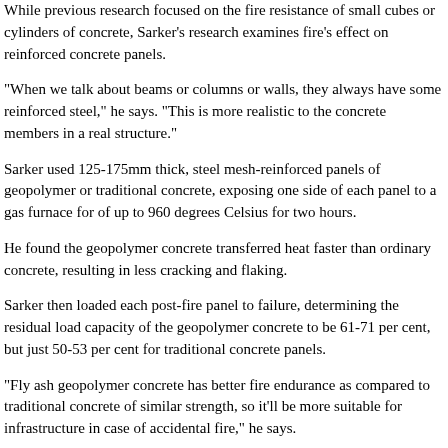While previous research focused on the fire resistance of small cubes or cylinders of concrete, Sarker's research examines fire's effect on reinforced concrete panels.
"When we talk about beams or columns or walls, they always have some reinforced steel," he says. "This is more realistic to the concrete members in a real structure."
Sarker used 125-175mm thick, steel mesh-reinforced panels of geopolymer or traditional concrete, exposing one side of each panel to a gas furnace for of up to 960 degrees Celsius for two hours.
He found the geopolymer concrete transferred heat faster than ordinary concrete, resulting in less cracking and flaking.
Sarker then loaded each post-fire panel to failure, determining the residual load capacity of the geopolymer concrete to be 61-71 per cent, but just 50-53 per cent for traditional concrete panels.
"Fly ash geopolymer concrete has better fire endurance as compared to traditional concrete of similar strength, so it'll be more suitable for infrastructure in case of accidental fire," he says.